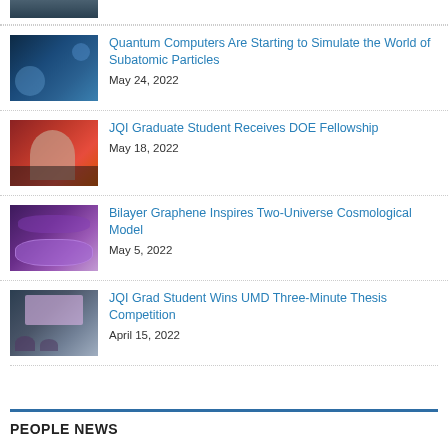[Figure (photo): Partial image cropped at top of page]
[Figure (photo): Quantum computing themed image with blue tones]
Quantum Computers Are Starting to Simulate the World of Subatomic Particles
May 24, 2022
[Figure (photo): Portrait of a female graduate student]
JQI Graduate Student Receives DOE Fellowship
May 18, 2022
[Figure (photo): Graphene bilayer 3D model visualization in purple]
Bilayer Graphene Inspires Two-Universe Cosmological Model
May 5, 2022
[Figure (photo): Student presenting at a thesis competition]
JQI Grad Student Wins UMD Three-Minute Thesis Competition
April 15, 2022
PEOPLE NEWS